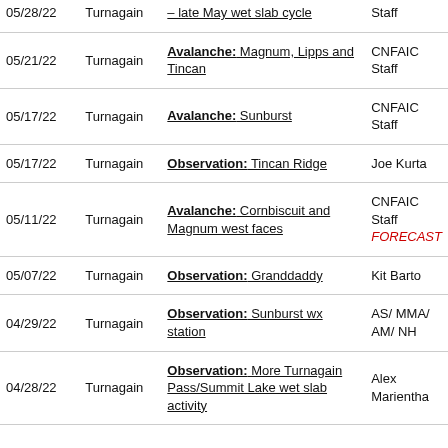| Date | Area | Description | Author |
| --- | --- | --- | --- |
| 05/28/22 | Turnagain | – late May wet slab cycle | Staff |
| 05/21/22 | Turnagain | Avalanche: Magnum, Lipps and Tincan | CNFAIC Staff |
| 05/17/22 | Turnagain | Avalanche: Sunburst | CNFAIC Staff |
| 05/17/22 | Turnagain | Observation: Tincan Ridge | Joe Kurta |
| 05/11/22 | Turnagain | Avalanche: Cornbiscuit and Magnum west faces | CNFAIC Staff FORECAST |
| 05/07/22 | Turnagain | Observation: Granddaddy | Kit Barto |
| 04/29/22 | Turnagain | Observation: Sunburst wx station | AS/ MMA/ AM/ NH |
| 04/28/22 | Turnagain | Observation: More Turnagain Pass/Summit Lake wet slab activity | Alex Marientha |